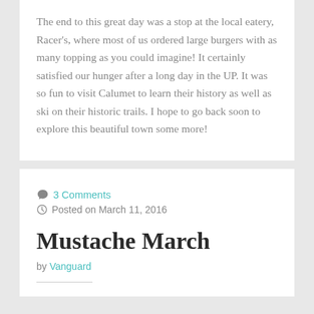The end to this great day was a stop at the local eatery, Racer's, where most of us ordered large burgers with as many topping as you could imagine! It certainly satisfied our hunger after a long day in the UP. It was so fun to visit Calumet to learn their history as well as ski on their historic trails. I hope to go back soon to explore this beautiful town some more!
💬 3 Comments
🕐 Posted on March 11, 2016
Mustache March
by Vanguard